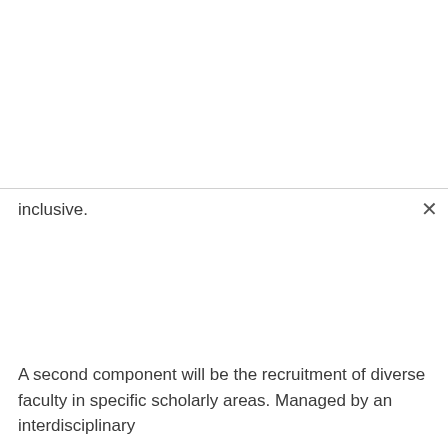inclusive.
A second component will be the recruitment of diverse faculty in specific scholarly areas. Managed by an interdisciplinary